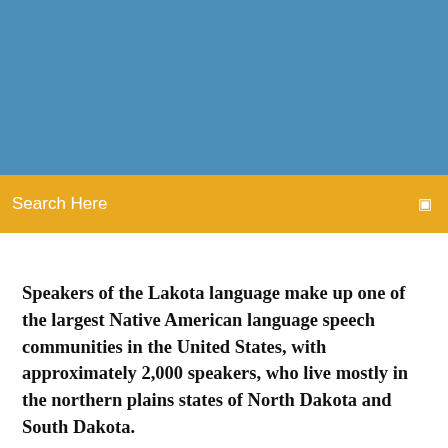[Figure (illustration): Blue banner background image at the top of the page]
Search Here
Speakers of the Lakota language make up one of the largest Native American language speech communities in the United States, with approximately 2,000 speakers, who live mostly in the northern plains states of North Dakota and South Dakota.